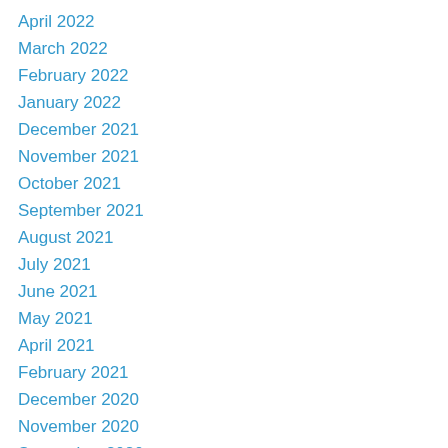April 2022
March 2022
February 2022
January 2022
December 2021
November 2021
October 2021
September 2021
August 2021
July 2021
June 2021
May 2021
April 2021
February 2021
December 2020
November 2020
September 2020
July 2020
June 2020
May 2020